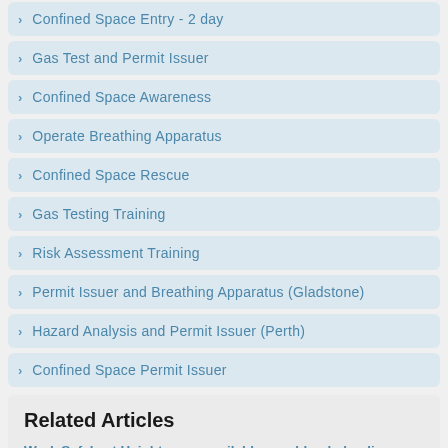Confined Space Entry - 2 day
Gas Test and Permit Issuer
Confined Space Awareness
Operate Breathing Apparatus
Confined Space Rescue
Gas Testing Training
Risk Assessment Training
Permit Issuer and Breathing Apparatus (Gladstone)
Hazard Analysis and Permit Issuer (Perth)
Confined Space Permit Issuer
Related Articles
Work Safely at Heights now available as a blended online theory + half day practical course
In response to the coronavirus pandemic, Pinnacle Safety and Training is working around